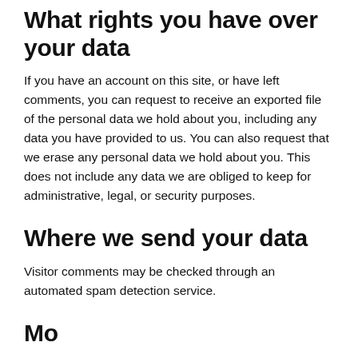What rights you have over your data
If you have an account on this site, or have left comments, you can request to receive an exported file of the personal data we hold about you, including any data you have provided to us. You can also request that we erase any personal data we hold about you. This does not include any data we are obliged to keep for administrative, legal, or security purposes.
Where we send your data
Visitor comments may be checked through an automated spam detection service.
Mo…